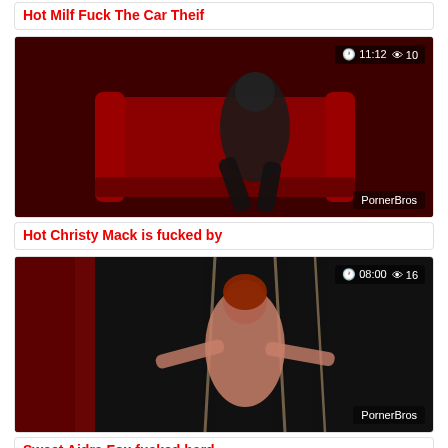Hot Milf Fuck The Car Theif
[Figure (screenshot): Video thumbnail showing woman in black leather outfit on red chair. Badge shows 11:12 duration and 10 views. Watermark: PornerBros]
Hot Christy Mack is fucked by
[Figure (screenshot): Video thumbnail showing bondage scene with redhead. Badge shows 08:00 duration and 16 views. Watermark: PornerBros]
Sweet Aidra Fox fucked hard
[Figure (screenshot): Partial video thumbnail, dark scene. Badge shows 08:09 duration and 9 views.]